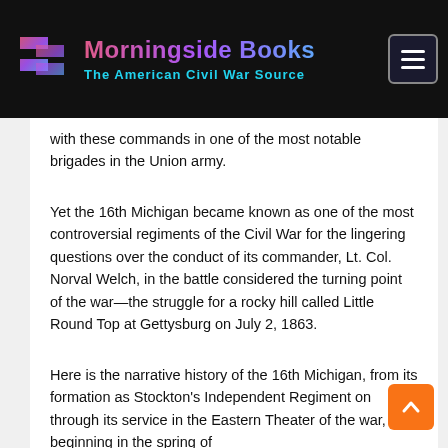Morningside Books — The American Civil War Source
with these commands in one of the most notable brigades in the Union army.
Yet the 16th Michigan became known as one of the most controversial regiments of the Civil War for the lingering questions over the conduct of its commander, Lt. Col. Norval Welch, in the battle considered the turning point of the war—the struggle for a rocky hill called Little Round Top at Gettysburg on July 2, 1863.
Here is the narrative history of the 16th Michigan, from its formation as Stockton's Independent Regiment on through its service in the Eastern Theater of the war, beginning in the spring of